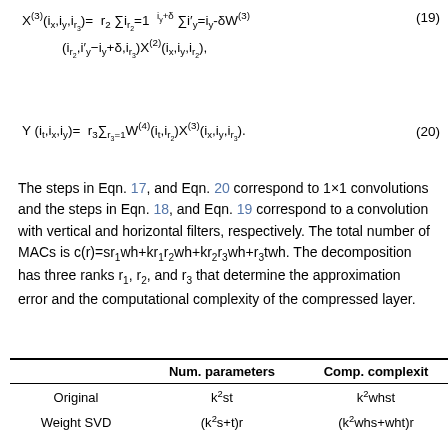The steps in Eqn. 17, and Eqn. 20 correspond to 1×1 convolutions and the steps in Eqn. 18, and Eqn. 19 correspond to a convolution with vertical and horizontal filters, respectively. The total number of MACs is c(r)=sr₁wh+kr₁r₂wh+kr₂r₃wh+r₃twh. The decomposition has three ranks r₁, r₂, and r₃ that determine the approximation error and the computational complexity of the compressed layer.
|  | Num. parameters | Comp. complexit |
| --- | --- | --- |
| Original | k²st | k²whst |
| Weight SVD | (k²s+t)r | (k²whs+wht)r |